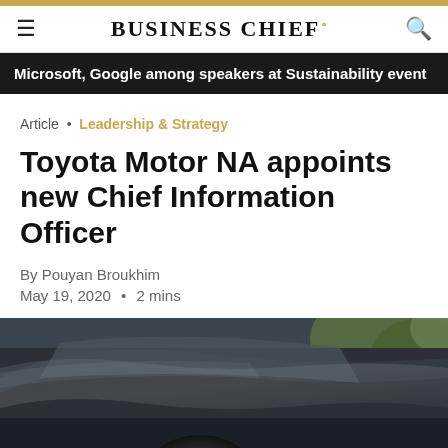BUSINESS CHIEF°
Microsoft, Google among speakers at Sustainability event
Article • Leadership & Strategy
Toyota Motor NA appoints new Chief Information Officer
By Pouyan Broukhim
May 19, 2020 • 2 mins
[Figure (photo): Close-up photo of a dark Toyota vehicle showing the hood, windshield reflection and wheel area with greenery in the background]